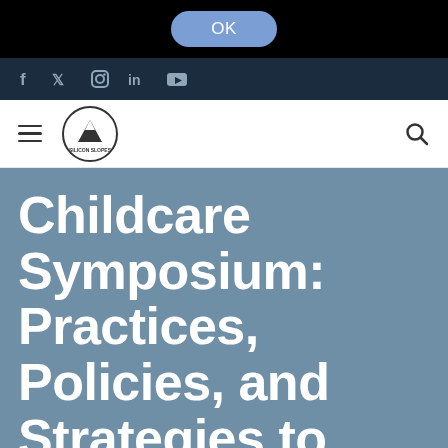[Figure (screenshot): OK button on black background top bar]
f  Twitter  Instagram  in  YouTube (social media icons)
[Figure (logo): Silicon Slopes circular logo with hamburger menu and search icon navigation bar]
Childcare Symposium: Practices, Policies, and Strategies to Move Utah